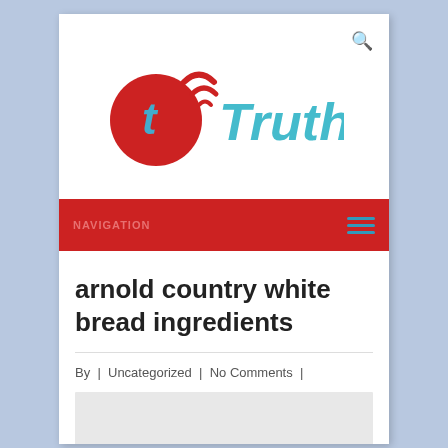[Figure (logo): TruthRss logo: red circle with letter t and wifi signal arcs, followed by 'TruthRss' in cyan and red lettering]
NAVIGATION
arnold country white bread ingredients
By | Uncategorized | No Comments |
[Figure (other): Gray placeholder image area]
New Services and Offers From PEERtrainer: 1)